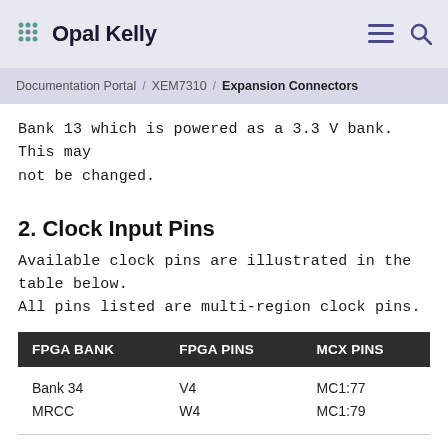Opal Kelly
Documentation Portal / XEM7310 / Expansion Connectors
Bank 13 which is powered as a 3.3 V bank.  This may not be changed.
2. Clock Input Pins
Available clock pins are illustrated in the table below. All pins listed are multi-region clock pins.
| FPGA BANK | FPGA PINS | MCX PINS |
| --- | --- | --- |
| Bank 34
MRCC | V4
W4 | MC1:77
MC1:79 |
| Bank 34
MRCC | R4
T4 | MC1:32
MC1:34 |